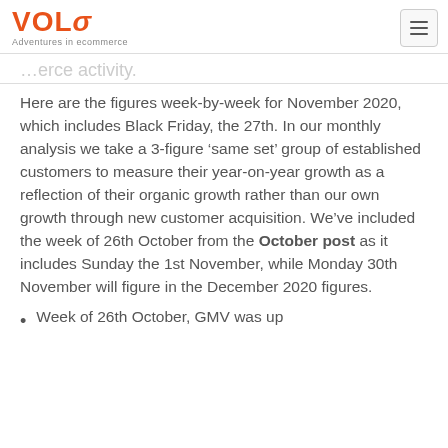VOLO Adventures in ecommerce
...erce activity.
Here are the figures week-by-week for November 2020, which includes Black Friday, the 27th. In our monthly analysis we take a 3-figure ‘same set’ group of established customers to measure their year-on-year growth as a reflection of their organic growth rather than our own growth through new customer acquisition. We’ve included the week of 26th October from the October post as it includes Sunday the 1st November, while Monday 30th November will figure in the December 2020 figures.
Week of 26th October, GMV was up